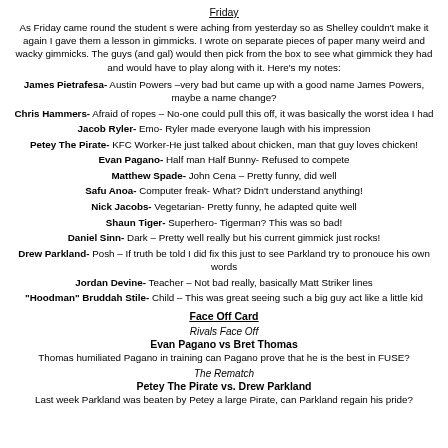Friday
As Friday came round the student s were aching from yesterday so as Shelley couldn't make it again I gave them a lesson in gimmicks. I wrote on separate pieces of paper many weird and wacky gimmicks. The guys (and gal) would then pick from the box to see what gimmick they had and would have to play along with it. Here's my notes:
James Pietrafesa- Austin Powers –very bad but came up with a good name James Powers, maybe a name change?
Chris Hammers- Afraid of ropes – No-one could pull this off, it was basically the worst idea I had
Jacob Ryler- Emo- Ryler made everyone laugh with his impression
Petey The Pirate- KFC Worker-He just talked about chicken, man that guy loves chicken!
Evan Pagano- Half man Half Bunny- Refused to compete
Matthew Spade- John Cena – Pretty funny, did well
Safu Anoa- Computer freak- What? Didn't understand anything!
Nick Jacobs- Vegetarian- Pretty funny, he adapted quite well
Shaun Tiger- Superhero- Tigerman? This was so bad!
Daniel Sinn- Dark – Pretty well really but his current gimmick just rocks!
Drew Parkland- Posh – If truth be told I did fix this just to see Parkland try to pronouce his own words
Jordan Devine- Teacher – Not bad really, basically Matt Striker lines
"Hoodman" Bruddah Stile- Child – This was great seeing such a big guy act like a little kid
Face Off Card
Rivals Face Off
Evan Pagano vs Bret Thomas
Thomas humiliated Pagano in training can Pagano prove that he is the best in FUSE?
The Rematch
Petey The Pirate vs. Drew Parkland
Last week Parkland was beaten by Petey a large Pirate, can Parkland regain his pride?